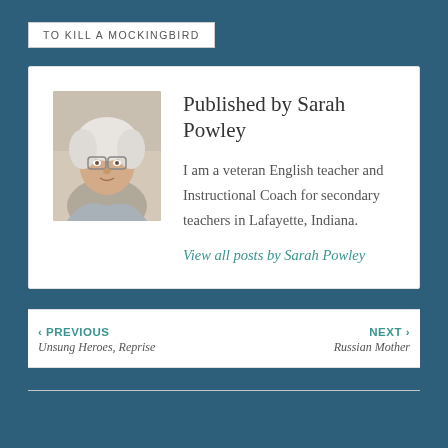TO KILL A MOCKINGBIRD
Published by Sarah Powley
I am a veteran English teacher and Instructional Coach for secondary teachers in Lafayette, Indiana.
View all posts by Sarah Powley
‹ PREVIOUS
Unsung Heroes, Reprise
NEXT ›
Russian Mother